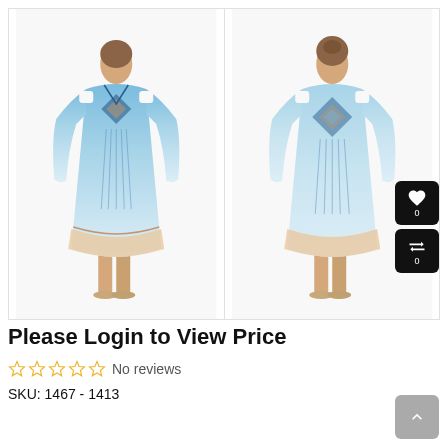[Figure (photo): Two views of a women's cold-shoulder boho-print dress in blue/white mosaic pattern. Left image shows front view with model facing forward; right image shows back view with model facing away. Both models wear beige sandals.]
Please Login to View Price
☆☆☆☆☆ No reviews
SKU: 1467 - 1413